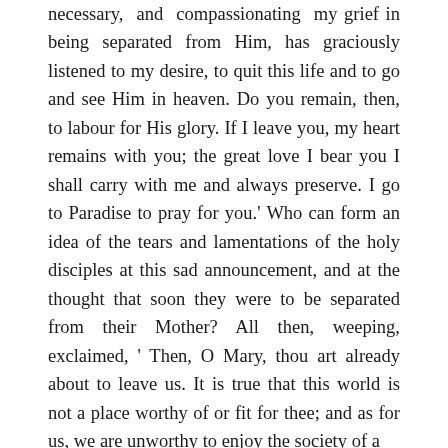necessary, and compassionating my grief in being separated from Him, has graciously listened to my desire, to quit this life and to go and see Him in heaven. Do you remain, then, to labour for His glory. If I leave you, my heart remains with you; the great love I bear you I shall carry with me and always preserve. I go to Paradise to pray for you.' Who can form an idea of the tears and lamentations of the holy disciples at this sad announcement, and at the thought that soon they were to be separated from their Mother? All then, weeping, exclaimed, ' Then, O Mary, thou art already about to leave us. It is true that this world is not a place worthy of or fit for thee; and as for us, we are unworthy to enjoy the society of a